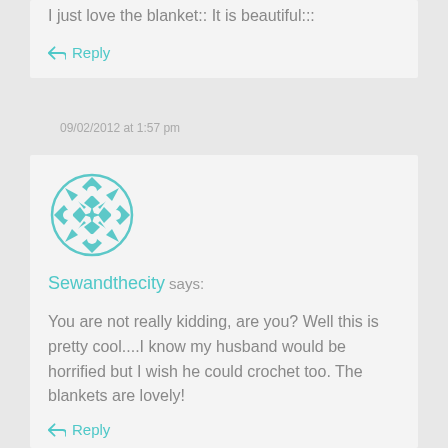I just love the blanket:: It is beautiful:::
Reply
09/02/2012 at 1:57 pm
[Figure (logo): Circular decorative quilt-pattern avatar icon in teal/turquoise color]
Sewandthecity says:
You are not really kidding, are you? Well this is pretty cool....I know my husband would be horrified but I wish he could crochet too. The blankets are lovely!
Reply